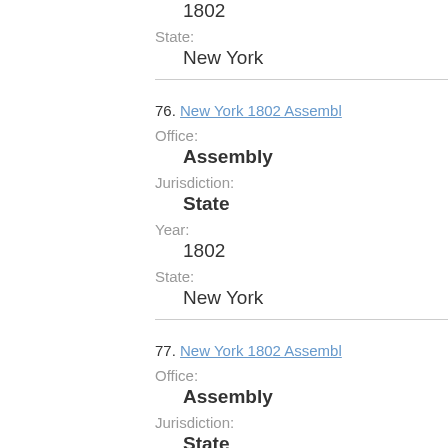1802
State:
New York
76. New York 1802 Assembl...
Office:
Assembly
Jurisdiction:
State
Year:
1802
State:
New York
77. New York 1802 Assembl...
Office:
Assembly
Jurisdiction:
State
Year: